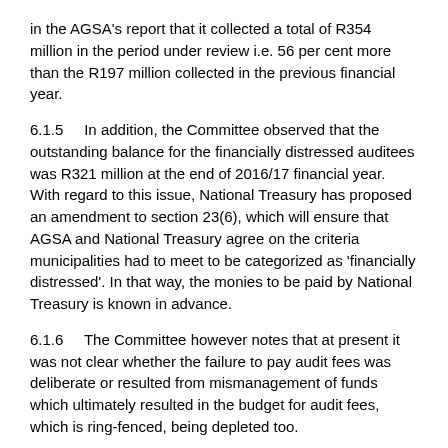in the AGSA's report that it collected a total of R354 million in the period under review i.e. 56 per cent more than the R197 million collected in the previous financial year.
6.1.5	In addition, the Committee observed that the outstanding balance for the financially distressed auditees was R321 million at the end of 2016/17 financial year. With regard to this issue, National Treasury has proposed an amendment to section 23(6), which will ensure that AGSA and National Treasury agree on the criteria municipalities had to meet to be categorized as 'financially distressed'. In that way, the monies to be paid by National Treasury is known in advance.
6.1.6	The Committee however notes that at present it was not clear whether the failure to pay audit fees was deliberate or resulted from mismanagement of funds which ultimately resulted in the budget for audit fees, which is ring-fenced, being depleted too.
Contestation of audit findings
6.1.7	The Committee notes with concern the increase in auditees' challenging the AGSA's findings. The Committee views